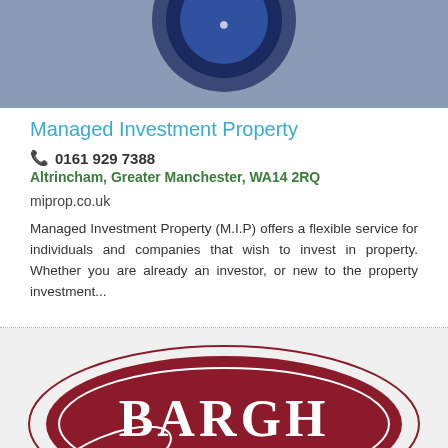[Figure (logo): Partial view of a circular logo with blue and white design on a blue-grey background]
Managed Investment Property
📞 0161 929 7388
Altrincham, Greater Manchester, WA14 2RQ
miprop.co.uk
Managed Investment Property (M.I.P) offers a flexible service for individuals and companies that wish to invest in property. Whether you are already an investor, or new to the property investment...
[Figure (logo): Bargh Estates logo: dark red oval with white text reading BARGH ESTATES, with a thin oval outline]